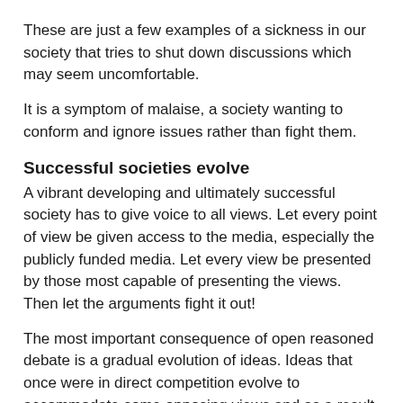These are just a few examples of a sickness in our society that tries to shut down discussions which may seem uncomfortable.
It is a symptom of malaise, a society wanting to conform and ignore issues rather than fight them.
Successful societies evolve
A vibrant developing and ultimately successful society has to give voice to all views. Let every point of view be given access to the media, especially the publicly funded media. Let every view be presented by those most capable of presenting the views. Then let the arguments fight it out!
The most important consequence of open reasoned debate is a gradual evolution of ideas. Ideas that once were in direct competition evolve to accommodate some opposing views and as a result receive wider acceptance. A society that handles such debates without explosive passion will always evolve. In the past Australia has evolved to become a very tolerant, equitable society that is the envy of the world.